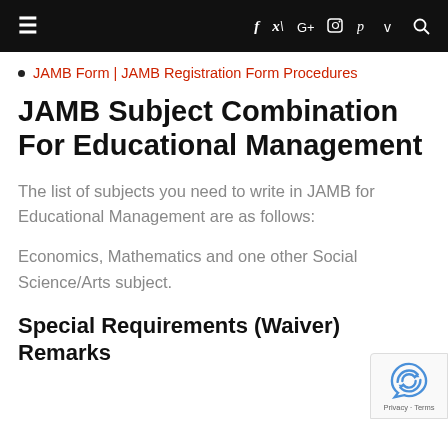≡   f  t  G+  ⊙  p  v  🔍
JAMB Form | JAMB Registration Form Procedures
JAMB Subject Combination For Educational Management
The list of subjects you need to write in JAMB for Educational Management are as follows:
Economics, Mathematics and one other Social Science/Arts subject.
Special Requirements (Waiver) Remarks